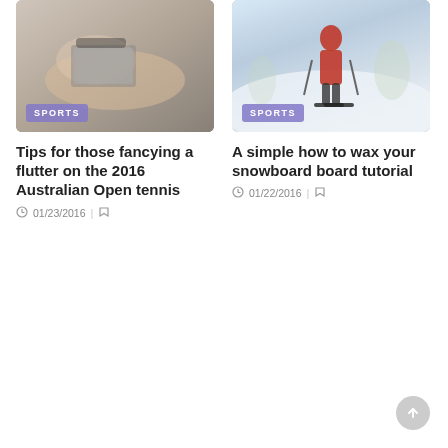[Figure (photo): Photo of a person in a swimsuit lying on a towel with a laptop, tennis/sports themed image with SPORTS badge overlay]
Tips for those fancying a flutter on the 2016 Australian Open tennis
01/23/2016
[Figure (photo): Photo of a skier in red jacket on snowy slope with SPORTS badge overlay]
A simple how to wax your snowboard board tutorial
01/22/2016